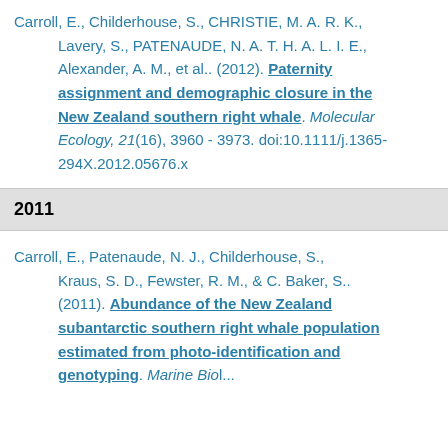Carroll, E., Childerhouse, S., CHRISTIE, M. A. R. K., Lavery, S., PATENAUDE, N. A. T. H. A. L. I. E., Alexander, A. M., et al.. (2012). Paternity assignment and demographic closure in the New Zealand southern right whale. Molecular Ecology, 21(16), 3960 - 3973. doi:10.1111/j.1365-294X.2012.05676.x
2011
Carroll, E., Patenaude, N. J., Childerhouse, S., Kraus, S. D., Fewster, R. M., & C. Baker, S.. (2011). Abundance of the New Zealand subantarctic southern right whale population estimated from photo-identification and genotyping. Marine Biology,...